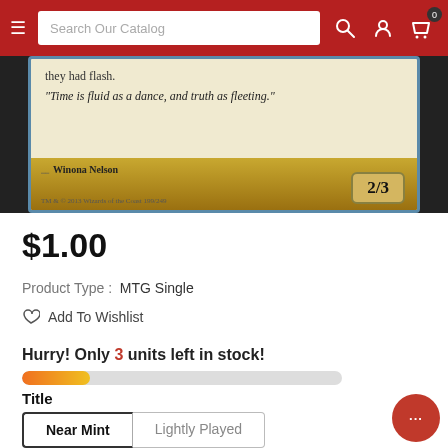Search Our Catalog
[Figure (photo): Magic: The Gathering card bottom portion showing flavor text: 'they had flash. Time is fluid as a dance, and truth as fleeting.' Artist: Winona Nelson. Power/Toughness: 2/3. TM & © 2013 Wizards of the Coast 199/249.]
$1.00
Product Type : MTG Single
Add To Wishlist
Hurry! Only 3 units left in stock!
Title
Near Mint | Lightly Played